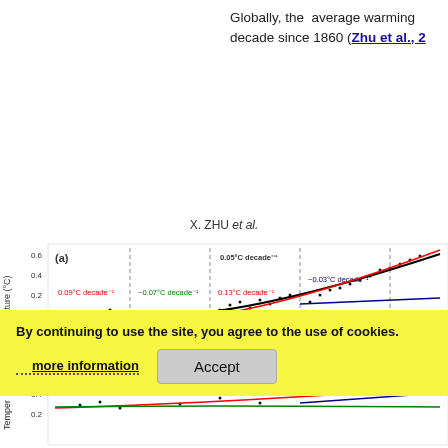Globally, the average warming decade since 1860 (Zhu et al., 2...
X. ZHU et al.
[Figure (continuous-plot): Panel (a): Temperature anomaly time series chart showing warming trends with labeled rates: 0.09°C decade⁻¹ (red), -0.07°C decade⁻¹ (green), 0.13°C decade⁻¹ (red), -0.03°C decade⁻¹ (blue), 0.05°C decade⁻¹ (black), 0.2°C (red label, partially visible). Panel (b): Another temperature chart partially visible at bottom.]
By continuing to use the site, you agree to the use of cookies.
more information
Accept